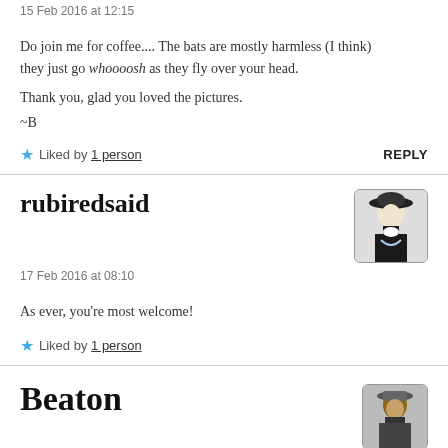15 Feb 2016 at 12:15
Do join me for coffee.... The bats are mostly harmless (I think) they just go whoooosh as they fly over your head.
Thank you, glad you loved the pictures.
~B
★ Liked by 1 person   REPLY
rubiredsaid
17 Feb 2016 at 08:10
As ever, you're most welcome!
★ Liked by 1 person
Beaton